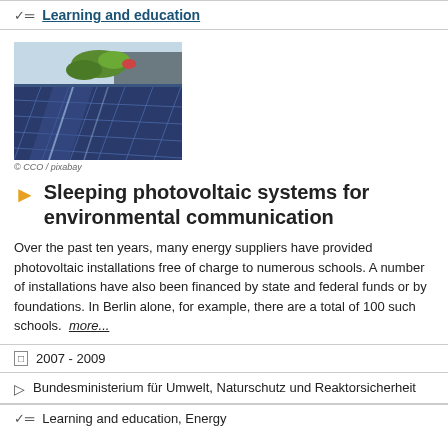Learning and education
[Figure (photo): Close-up photograph of solar photovoltaic panels on a rooftop with green plants visible in the background]
© CCO / pixabay
Sleeping photovoltaic systems for environmental communication
Over the past ten years, many energy suppliers have provided photovoltaic installations free of charge to numerous schools. A number of installations have also been financed by state and federal funds or by foundations. In Berlin alone, for example, there are a total of 100 such schools.  more...
2007 - 2009
Bundesministerium für Umwelt, Naturschutz und Reaktorsicherheit
Learning and education, Energy